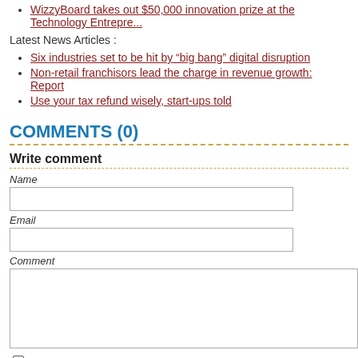WizzyBoard takes out $50,000 innovation prize at the Technology Entrepre...
Latest News Articles :
Six industries set to be hit by “big bang” digital disruption
Non-retail franchisors lead the charge in revenue growth: Report
Use your tax refund wisely, start-ups told
COMMENTS (0)
Write comment
Name
Email
Comment
Subscribe via email (registered users only)
I have read and agree to the Terms of Usage.